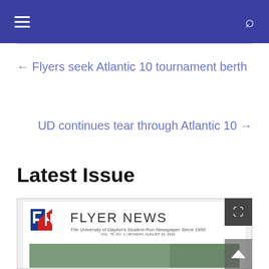Flyer News — navigation bar
← Flyers seek Atlantic 10 tournament berth
UD continues tear through Atlantic 10 →
Latest Issue
[Figure (screenshot): Thumbnail preview of the Flyer News latest issue — showing the Flyer News logo with an 'FN' emblem in blue and red, the masthead text 'FLYER NEWS The University of Dayton's Student-Run Newspaper Since 1956', volume/date line, and an aerial photo strip below.]